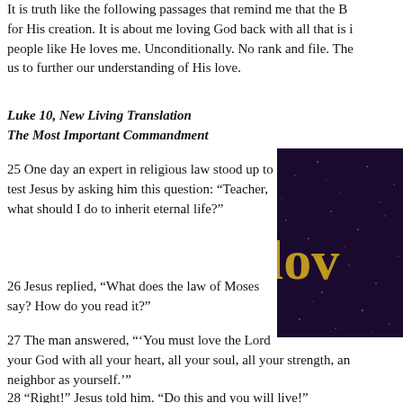It is truth like the following passages that remind me that the B... for His creation. It is about me loving God back with all that is i... people like He loves me. Unconditionally. No rank and file. The... us to further our understanding of His love.
Luke 10, New Living Translation
The Most Important Commandment
25 One day an expert in religious law stood up to test Jesus by asking him this question: “Teacher, what should I do to inherit eternal life?”
[Figure (photo): Dark purple glittery background with golden text 'LOV' visible (partially cropped image)]
26 Jesus replied, “What does the law of Moses say? How do you read it?”
27 The man answered, “‘You must love the Lord your God with all your heart, all your soul, all your strength, and... neighbor as yourself.’”
28 “Right!” Jesus told him. “Do this and you will live!”